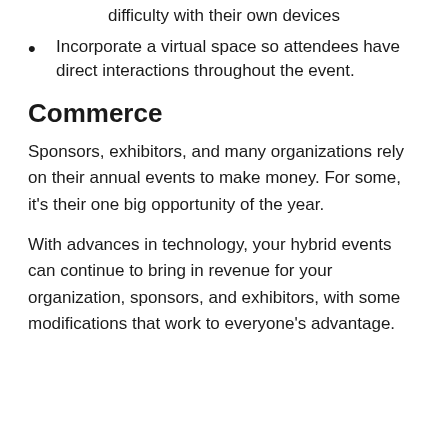difficulty with their own devices
Incorporate a virtual space so attendees have direct interactions throughout the event.
Commerce
Sponsors, exhibitors, and many organizations rely on their annual events to make money. For some, it’s their one big opportunity of the year.
With advances in technology, your hybrid events can continue to bring in revenue for your organization, sponsors, and exhibitors, with some modifications that work to everyone’s advantage.